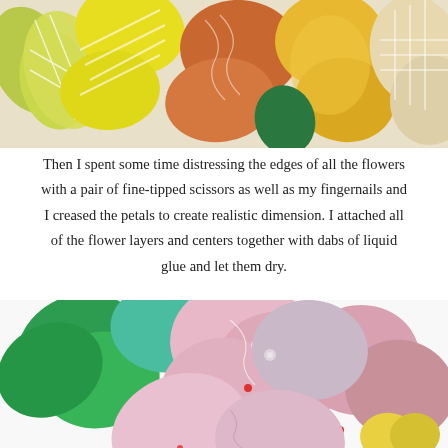[Figure (photo): Close-up photo of colorful paper flower petals in yellow, green, orange, and other colors with decorative patterns, overlapping each other.]
Then I spent some time distressing the edges of all the flowers with a pair of fine-tipped scissors as well as my fingernails and I creased the petals to create realistic dimension. I attached all of the flower layers and centers together with dabs of liquid glue and let them dry.
[Figure (photo): Close-up photo of paper flowers in pink, green, and white tones with decorative floral patterns, showing layered paper petals and leaves arranged together.]